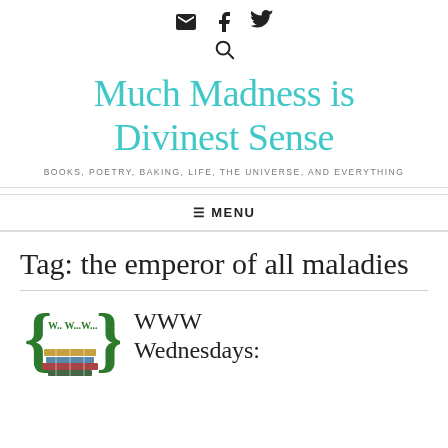[email icon] [facebook icon] [twitter icon] [search icon]
Much Madness is Divinest Sense
BOOKS, POETRY, BAKING, LIFE, THE UNIVERSE, AND EVERYTHING
☰ MENU
Tag: the emperor of all maladies
[Figure (illustration): WWW Wednesdays logo with curly braces and stacked books]
WWW Wednesdays: